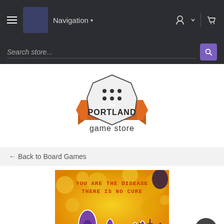Navigation
Search store...
[Figure (logo): The Portland Game Store logo: a white die with black dots inside a shield shape, with an orange ribbon banner bearing the text 'the PORTLAND game store']
← Back to Board Games
[Figure (photo): Board game box art showing microscopic virus/bacteria cells in yellow and purple tones, with text 'YOU ARE THE DISEASE THERE IS NO CURE']